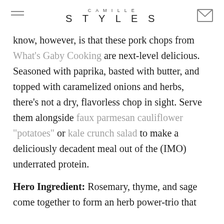CAMILLE STYLES
know, however, is that these pork chops from What's Gaby Cooking are next-level delicious. Seasoned with paprika, basted with butter, and topped with caramelized onions and herbs, there's not a dry, flavorless chop in sight. Serve them alongside faux parmesan cauliflower "potatoes" or kale crunch salad to make a deliciously decadent meal out of the (IMO) underrated protein.
Hero Ingredient: Rosemary, thyme, and sage come together to form an herb power-trio that